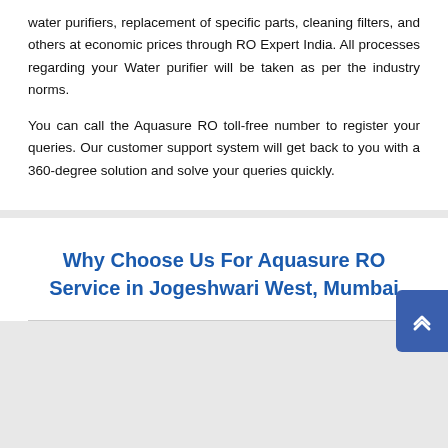water purifiers, replacement of specific parts, cleaning filters, and others at economic prices through RO Expert India. All processes regarding your Water purifier will be taken as per the industry norms.
You can call the Aquasure RO toll-free number to register your queries. Our customer support system will get back to you with a 360-degree solution and solve your queries quickly.
Why Choose Us For Aquasure RO Service in Jogeshwari West, Mumbai